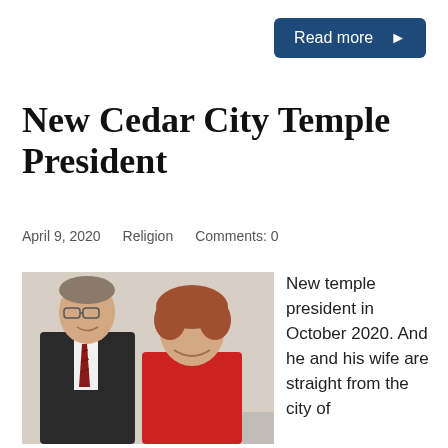Read more ▶
New Cedar City Temple President
April 9, 2020   Religion   Comments: 0
[Figure (photo): A man in a dark suit and tie standing next to a woman with short reddish-brown hair, both smiling, in what appears to be an indoor setting.]
New temple president in October 2020. And he and his wife are straight from the city of